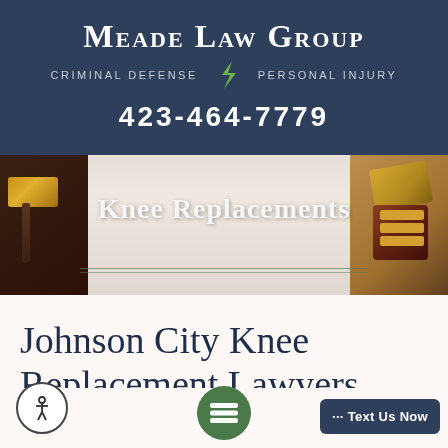Meade Law Group — Criminal Defense | Personal Injury — 423-464-7779
[Figure (photo): Hero banner with gavel on left, jewelry/scales on right, text overlay reading 'Knee Replacements' with decorative green lines below]
Johnson City Knee Replacement Lawyers
Helping Victims of Malpractice